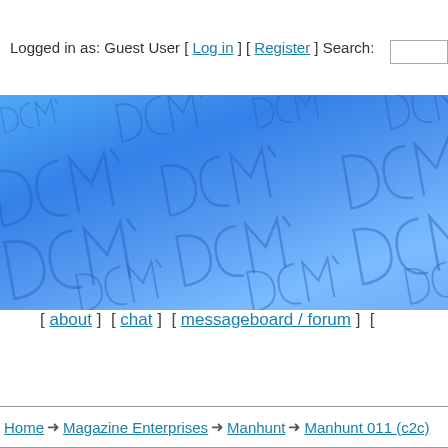Logged in as: Guest User [ Log in ] [ Register ] Search:
[Figure (illustration): Blue banner with repeating embossed DCM logo watermark pattern on a gradient blue background]
[ about ]  [ chat ]  [ messageboard / forum ]  [
Home → Magazine Enterprises → Manhunt → Manhunt 011 (c2c)